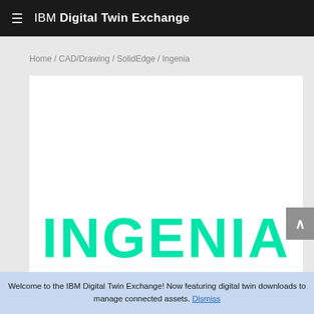IBM Digital Twin Exchange
Home / CAD/Drawing / SolidEdge / Ingenia
[Figure (logo): INGENIA company logo in large teal/cyan bold text on white background]
Welcome to the IBM Digital Twin Exchange! Now featuring digital twin downloads to manage connected assets. Dismiss